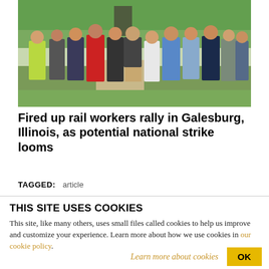[Figure (photo): Group of people wearing union t-shirts standing with their backs to the camera at an outdoor rally, with a statue and trees visible in the background.]
Fired up rail workers rally in Galesburg, Illinois, as potential national strike looms
TAGGED: article
THIS SITE USES COOKIES
This site, like many others, uses small files called cookies to help us improve and customize your experience. Learn more about how we use cookies in our cookie policy.
Learn more about cookies  OK